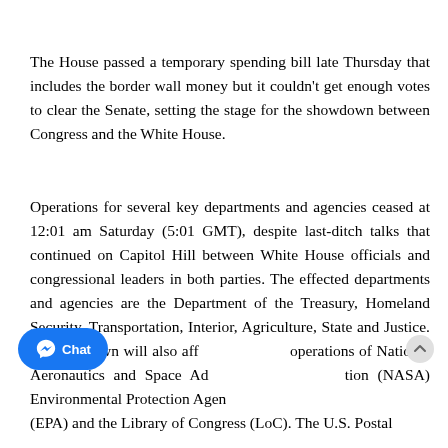The House passed a temporary spending bill late Thursday that includes the border wall money but it couldn't get enough votes to clear the Senate, setting the stage for the showdown between Congress and the White House.
Operations for several key departments and agencies ceased at 12:01 am Saturday (5:01 GMT), despite last-ditch talks that continued on Capitol Hill between White House officials and congressional leaders in both parties. The effected departments and agencies are the Department of the Treasury, Homeland Security, Transportation, Interior, Agriculture, State and Justice. The shutdown will also affect operations of National Aeronautics and Space Administration (NASA) Environmental Protection Agency (EPA) and the Library of Congress (LoC). The U.S. Postal